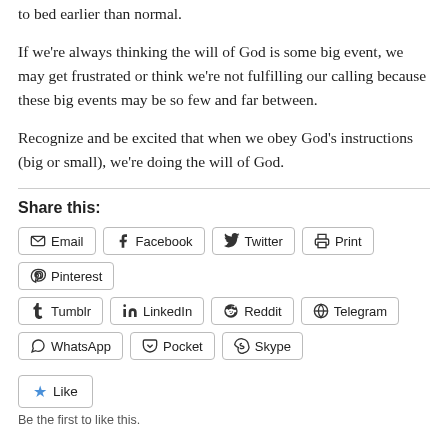to bed earlier than normal.
If we're always thinking the will of God is some big event, we may get frustrated or think we're not fulfilling our calling because these big events may be so few and far between.
Recognize and be excited that when we obey God's instructions (big or small), we're doing the will of God.
Share this:
Email  Facebook  Twitter  Print  Pinterest  Tumblr  LinkedIn  Reddit  Telegram  WhatsApp  Pocket  Skype
Like
Be the first to like this.